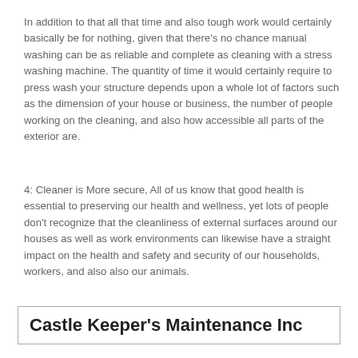In addition to that all that time and also tough work would certainly basically be for nothing, given that there's no chance manual washing can be as reliable and complete as cleaning with a stress washing machine. The quantity of time it would certainly require to press wash your structure depends upon a whole lot of factors such as the dimension of your house or business, the number of people working on the cleaning, and also how accessible all parts of the exterior are.
4: Cleaner is More secure, All of us know that good health is essential to preserving our health and wellness, yet lots of people don't recognize that the cleanliness of external surfaces around our houses as well as work environments can likewise have a straight impact on the health and safety and security of our households, workers, and also also our animals.
Castle Keeper's Maintenance Inc